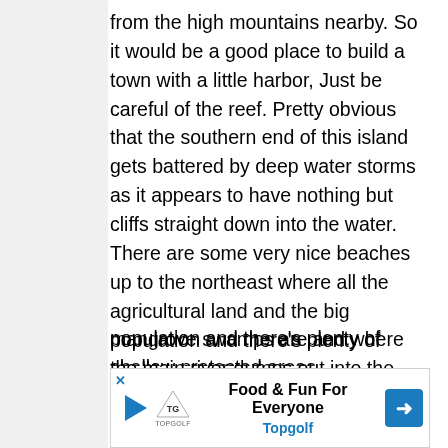from the high mountains nearby. So it would be a good place to build a town with a little harbor, Just be careful of the reef. Pretty obvious that the southern end of this island gets battered by deep water storms as it appears to have nothing but cliffs straight down into the water. There are some very nice beaches up to the northeast where all the agricultural land and the big mangrove swamps are and where the main river dumps out into the shallow ocean. It looks like whoever lives up around the old volcano does not have a road connection to the big town. Perhaps they've just decided to isolate themselves up there where it's cooler and greener, or perhaps they are displaced, like indigenous people, into an isolated area. I would bet that The island is agriculturally self supporting. It looks like there are terraces and adequate farm land for such a small population and there's plenty of shallow protected areas for...
[Figure (other): Advertisement banner for Topgolf: 'Food & Fun For Everyone' with Topgolf logo, play button, and navigation arrow icon.]